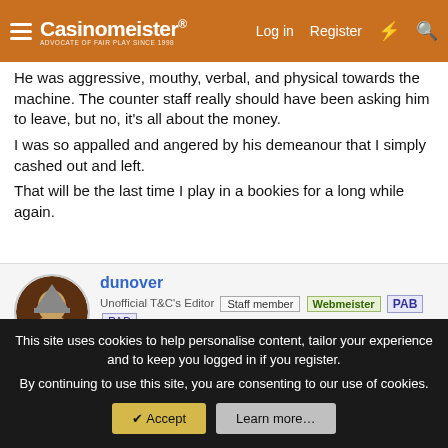Casinomeister — Log in | Register
He was aggressive, mouthy, verbal, and physical towards the machine. The counter staff really should have been asking him to leave, but no, it's all about the money. I was so appalled and angered by his demeanour that I simply cashed out and left. That will be the last time I play in a bookies for a long while again.
dunover
Unofficial T&C's Editor  Staff member  Webmeister  PAB  PAB
This site uses cookies to help personalise content, tailor your experience and to keep you logged in if you register.
By continuing to use this site, you are consenting to our use of cookies.